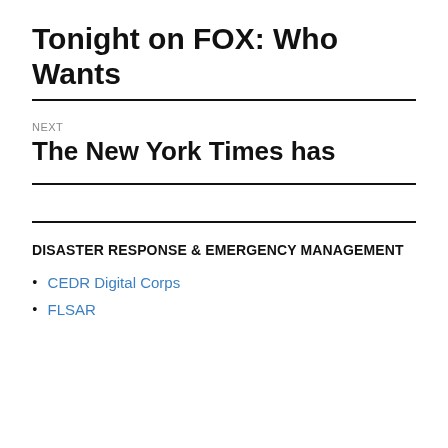Tonight on FOX: Who Wants
NEXT
The New York Times has
DISASTER RESPONSE & EMERGENCY MANAGEMENT
CEDR Digital Corps
FLSAR